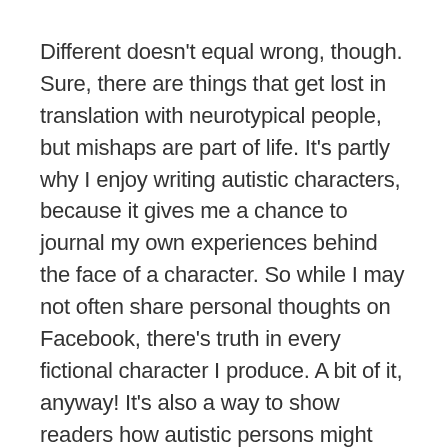Different doesn't equal wrong, though. Sure, there are things that get lost in translation with neurotypical people, but mishaps are part of life. It's partly why I enjoy writing autistic characters, because it gives me a chance to journal my own experiences behind the face of a character. So while I may not often share personal thoughts on Facebook, there's truth in every fictional character I produce. A bit of it, anyway! It's also a way to show readers how autistic persons might process something, or how some of us reach certain conclusions.
An added bonus, a humbling one, is having